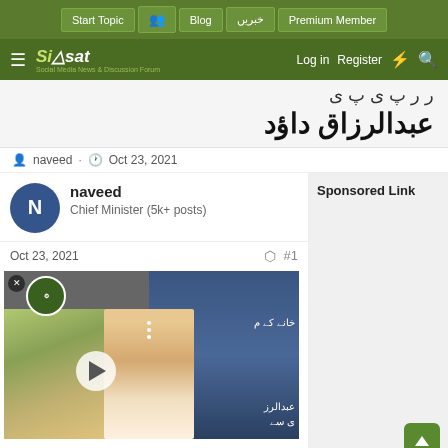Start Topic | Blog | خبریں | Premium Member | Log in | Register
Siasat - Social Media News & Discussion Forum
عبدالرزاق داؤد
naveed · Oct 23, 2021
naveed
Chief Minister (5k+ posts)
Oct 23, 2021  #1
[Figure (screenshot): Video thumbnail showing a split screen: left side shows a woman with a laptop in a domestic setting, right side shows a girl with Urdu text overlay. Play button visible in center. Pakistani government logo in top left.]
Sponsored Link